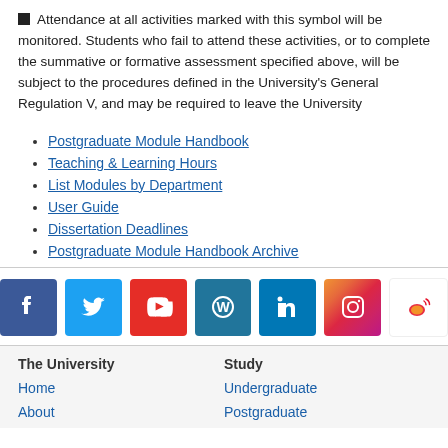■ Attendance at all activities marked with this symbol will be monitored. Students who fail to attend these activities, or to complete the summative or formative assessment specified above, will be subject to the procedures defined in the University's General Regulation V, and may be required to leave the University
Postgraduate Module Handbook
Teaching & Learning Hours
List Modules by Department
User Guide
Dissertation Deadlines
Postgraduate Module Handbook Archive
[Figure (infographic): Row of social media icons: Facebook, Twitter, YouTube, WordPress, LinkedIn, Instagram, Weibo]
The University | Study | Home | Undergraduate | About | Postgraduate